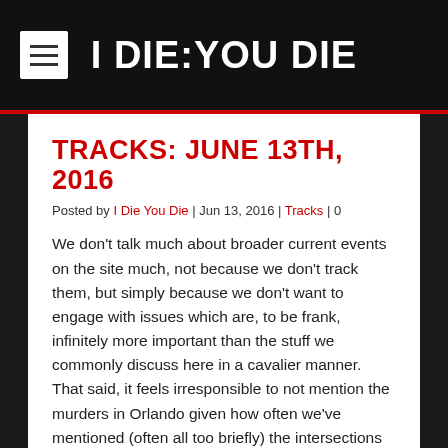I DIE:YOU DIE
TRACKS: JUNE 13TH, 2016
Posted by I Die You Die | Jun 13, 2016 | Tracks | 0
We don't talk much about broader current events on the site much, not because we don't track them, but simply because we don't want to engage with issues which are, to be frank, infinitely more important than the stuff we commonly discuss here in a cavalier manner. That said, it feels irresponsible to not mention the murders in Orlando given how often we've mentioned (often all too briefly) the intersections and overlaps between industrial and goth cultures and the history of gay clubs. Countless sounds and artists we continue to enjoy and cover here to this day were shaped by the radical sounds and radical politics gay clubs have engendered. We'd